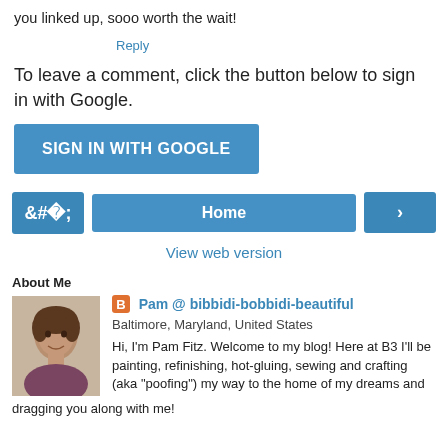you linked up, sooo worth the wait!
Reply
To leave a comment, click the button below to sign in with Google.
[Figure (other): Blue 'SIGN IN WITH GOOGLE' button]
[Figure (other): Navigation row with left arrow button, Home button, and right arrow button]
View web version
About Me
[Figure (photo): Profile photo of a woman with brown hair]
Pam @ bibbidi-bobbidi-beautiful
Baltimore, Maryland, United States
Hi, I'm Pam Fitz. Welcome to my blog! Here at B3 I'll be painting, refinishing, hot-gluing, sewing and crafting (aka "poofing") my way to the home of my dreams and
dragging you along with me!